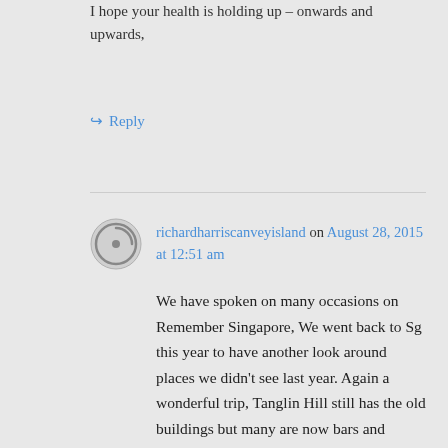I hope your health is holding up – onwards and upwards,
↪ Reply
richardharriscanveyisland on August 28, 2015 at 12:51 am
We have spoken on many occasions on Remember Singapore, We went back to Sg this year to have another look around places we didn't see last year. Again a wonderful trip, Tanglin Hill still has the old buildings but many are now bars and restaurants, you can still imagine the troops milling around